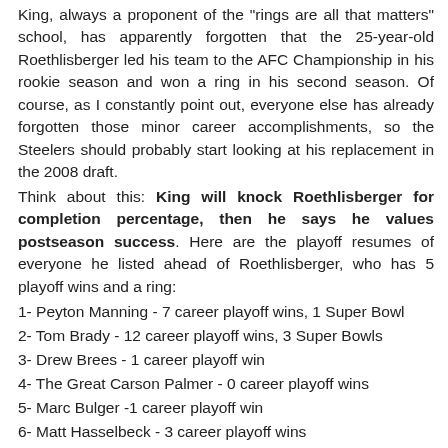King, always a proponent of the "rings are all that matters" school, has apparently forgotten that the 25-year-old Roethlisberger led his team to the AFC Championship in his rookie season and won a ring in his second season. Of course, as I constantly point out, everyone else has already forgotten those minor career accomplishments, so the Steelers should probably start looking at his replacement in the 2008 draft.
Think about this: King will knock Roethlisberger for completion percentage, then he says he values postseason success. Here are the playoff resumes of everyone he listed ahead of Roethlisberger, who has 5 playoff wins and a ring:
1- Peyton Manning - 7 career playoff wins, 1 Super Bowl
2- Tom Brady - 12 career playoff wins, 3 Super Bowls
3- Drew Brees - 1 career playoff win
4- The Great Carson Palmer - 0 career playoff wins
5- Marc Bulger -1 career playoff win
6- Matt Hasselbeck - 3 career playoff wins
7- Young - never in the playoffs
8- Rivers - 0 career playoff wins
9- Kitna - 0 career playoff wins